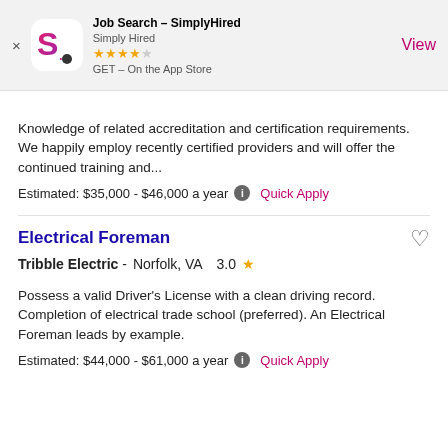[Figure (screenshot): App Store banner for Job Search - SimplyHired app showing logo, 4-star rating, and View button]
Knowledge of related accreditation and certification requirements. We happily employ recently certified providers and will offer the continued training and...
Estimated: $35,000 - $46,000 a year  Quick Apply
Electrical Foreman
Tribble Electric -  Norfolk, VA  3.0
Possess a valid Driver's License with a clean driving record. Completion of electrical trade school (preferred). An Electrical Foreman leads by example.
Estimated: $44,000 - $61,000 a year  Quick Apply